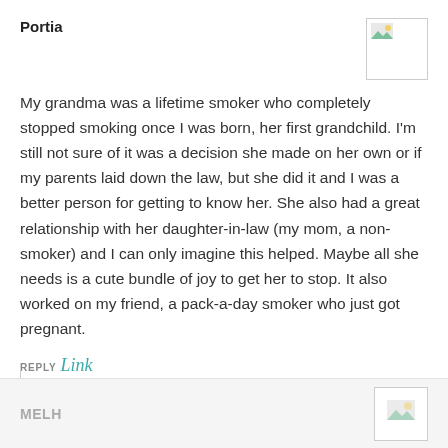Portia
[Figure (photo): Avatar placeholder image with broken image icon]
My grandma was a lifetime smoker who completely stopped smoking once I was born, her first grandchild. I'm still not sure of it was a decision she made on her own or if my parents laid down the law, but she did it and I was a better person for getting to know her. She also had a great relationship with her daughter-in-law (my mom, a non-smoker) and I can only imagine this helped. Maybe all she needs is a cute bundle of joy to get her to stop. It also worked on my friend, a pack-a-day smoker who just got pregnant.
REPLY Link
MELH
[Figure (photo): Second avatar placeholder image]